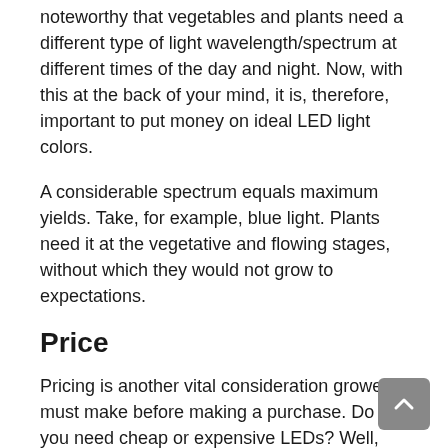noteworthy that vegetables and plants need a different type of light wavelength/spectrum at different times of the day and night. Now, with this at the back of your mind, it is, therefore, important to put money on ideal LED light colors.
A considerable spectrum equals maximum yields. Take, for example, blue light. Plants need it at the vegetative and flowing stages, without which they would not grow to expectations.
Price
Pricing is another vital consideration growers must make before making a purchase. Do you need cheap or expensive LEDs? Well,